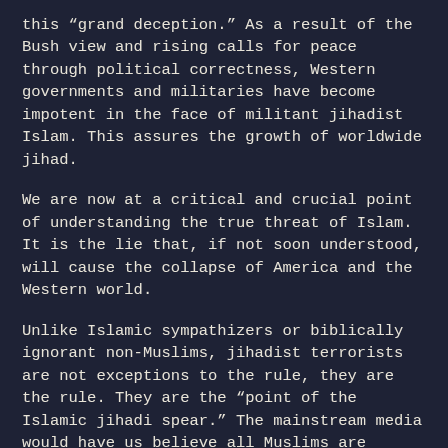this “grand deception.” As a result of the Bush view and rising calls for peace through political correctness, Western governments and militaries have become impotent in the face of militant jihadist Islam. This assures the growth of worldwide jihad.
We are now at a critical and crucial point of understanding the true threat of Islam. It is the lie that, if not soon understood, will cause the collapse of America and the Western world.
Unlike Islamic sympathizers or biblically ignorant non-Muslims, jihadist terrorists are not exceptions to the rule, they are the rule. They are the “point of the Islamic jihadi spear.” The mainstream media would have us believe all Muslims are benign in their beliefs. They are selling us the lie that good Muslims are peace-loving and simply want to live their lives, practice their faith, attend their mosques and raise their families.